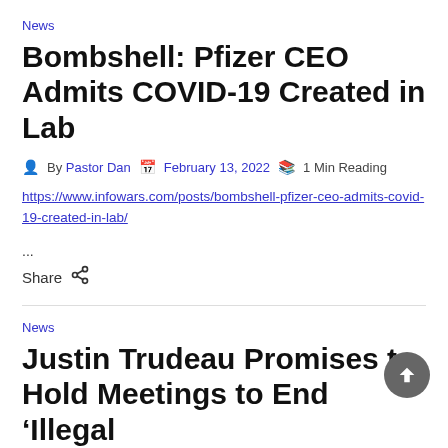News
Bombshell: Pfizer CEO Admits COVID-19 Created in Lab
By Pastor Dan  February 13, 2022  1 Min Reading
https://www.infowars.com/posts/bombshell-pfizer-ceo-admits-covid-19-created-in-lab/
...
Share
News
Justin Trudeau Promises to Hold Meetings to End 'Illegal